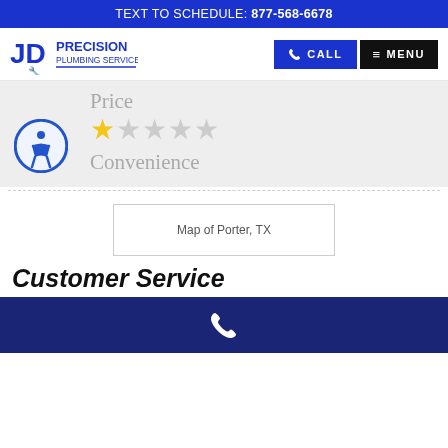TEXT TO SCHEDULE: 877-568-6678
[Figure (logo): JD Precision Plumbing Services logo with blue text and wrench icon]
CALL
MENU
Price
[Figure (infographic): Star rating: 1 out of 5 stars (one gold star, four gray stars)]
Convenience
[Figure (illustration): Accessibility icon - blue circle with white person figure]
[Figure (map): Map of Porter, TX]
Customer Service
Phone icon on dark blue bar